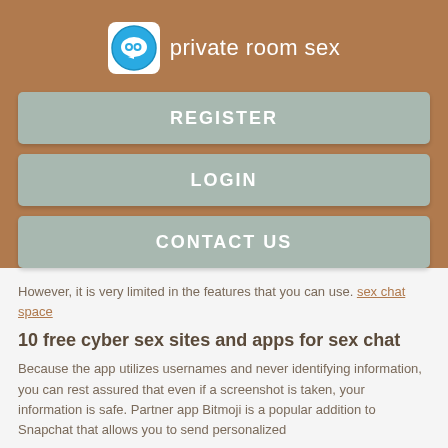[Figure (logo): App logo: blue circle with white chat bubble icon, labeled 'private room sex']
private room sex
REGISTER
LOGIN
CONTACT US
However, it is very limited in the features that you can use. sex chat space
10 free cyber sex sites and apps for sex chat
Because the app utilizes usernames and never identifying information, you can rest assured that even if a screenshot is taken, your information is safe. Partner app Bitmoji is a popular addition to Snapchat that allows you to send personalized